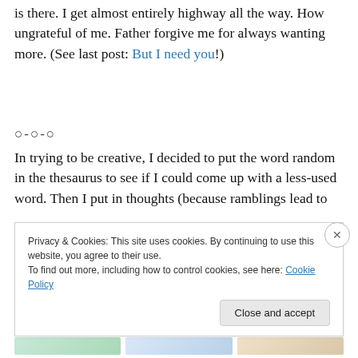is there.  I get almost entirely highway all the way.  How ungrateful of me.  Father forgive me for always wanting more.  (See last post:  But I need you!)
○-○-○
In trying to be creative, I decided to put the word random in the thesaurus to see if I could come up with a less-used word.  Then I put in thoughts (because ramblings lead to
Privacy & Cookies: This site uses cookies. By continuing to use this website, you agree to their use.
To find out more, including how to control cookies, see here: Cookie Policy
Close and accept